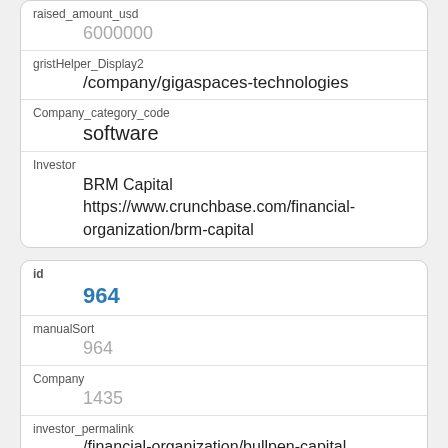raised_amount_usd
6000000
gristHelper_Display2
/company/gigaspaces-technologies
Company_category_code
software
Investor
BRM Capital https://www.crunchbase.com/financial-organization/brm-capital
id
964
manualSort
964
Company
1435
investor_permalink
/financial-organization/bullpen-capital
investor_name
Bullpen Capital